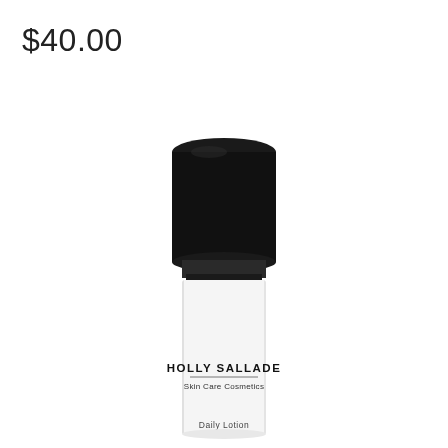$40.00
[Figure (photo): A skincare product bottle with a black cylindrical cap on top and a white cylindrical body. The label on the white body reads 'HOLLY SALLADE' in bold uppercase letters, underneath which is 'Skin Care Cosmetics' in smaller text, and at the bottom of the visible label area 'Daily Lotion'.]